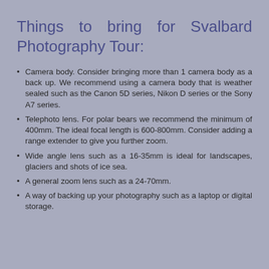Things to bring for Svalbard Photography Tour:
Camera body. Consider bringing more than 1 camera body as a back up. We recommend using a camera body that is weather sealed such as the Canon 5D series, Nikon D series or the Sony A7 series.
Telephoto lens. For polar bears we recommend the minimum of 400mm. The ideal focal length is 600-800mm. Consider adding a range extender to give you further zoom.
Wide angle lens such as a 16-35mm is ideal for landscapes, glaciers and shots of ice sea.
A general zoom lens such as a 24-70mm.
A way of backing up your photography such as a laptop or digital storage.